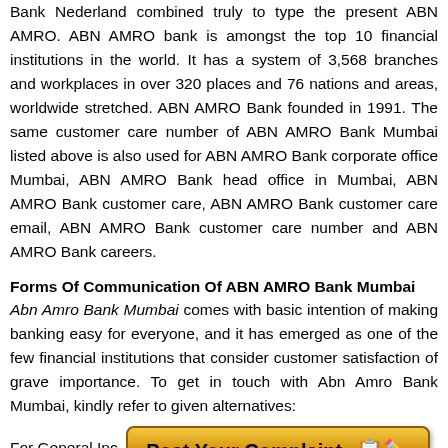Bank Nederland combined truly to type the present ABN AMRO. ABN AMRO bank is amongst the top 10 financial institutions in the world. It has a system of 3,568 branches and workplaces in over 320 places and 76 nations and areas, worldwide stretched. ABN AMRO Bank founded in 1991. The same customer care number of ABN AMRO Bank Mumbai listed above is also used for ABN AMRO Bank corporate office Mumbai, ABN AMRO Bank head office in Mumbai, ABN AMRO Bank customer care, ABN AMRO Bank customer care email, ABN AMRO Bank customer care number and ABN AMRO Bank careers.
Forms Of Communication Of ABN AMRO Bank Mumbai
Abn Amro Bank Mumbai comes with basic intention of making banking easy for everyone, and it has emerged as one of the few financial institutions that consider customer satisfaction of grave importance. To get in touch with Abn Amro Bank Mumbai, kindly refer to given alternatives:
For General Inc
[Figure (other): Orange/gold gradient button labeled 'Post Your Complaint' with a notepad and pencil icon]